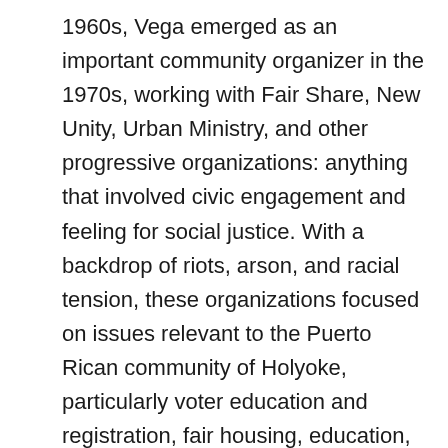1960s, Vega emerged as an important community organizer in the 1970s, working with Fair Share, New Unity, Urban Ministry, and other progressive organizations: anything that involved civic engagement and feeling for social justice. With a backdrop of riots, arson, and racial tension, these organizations focused on issues relevant to the Puerto Rican community of Holyoke, particularly voter education and registration, fair housing, education, employment, and safe streets.